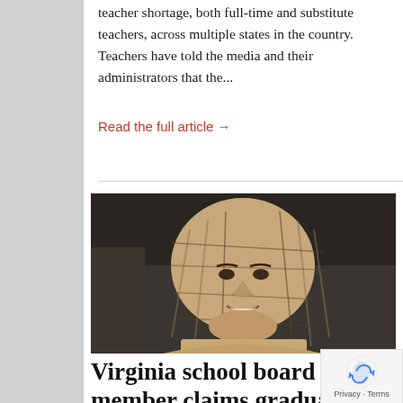teacher shortage, both full-time and substitute teachers, across multiple states in the country. Teachers have told the media and their administrators that the...
Read the full article →
[Figure (photo): Portrait photo of a smiling woman wearing a beige/tan plaid hijab, photographed indoors against a dark background.]
Virginia school board member claims graduates enter a racist